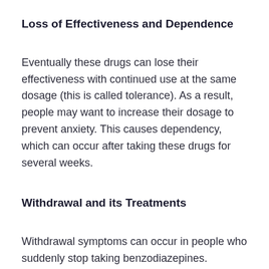Loss of Effectiveness and Dependence
Eventually these drugs can lose their effectiveness with continued use at the same dosage (this is called tolerance). As a result, people may want to increase their dosage to prevent anxiety. This causes dependency, which can occur after taking these drugs for several weeks.
Withdrawal and its Treatments
Withdrawal symptoms can occur in people who suddenly stop taking benzodiazepines. Symptoms can be very severe, even after taking benzodiazepines for only 4 weeks. Symptoms include sleep disturbance and anxiety, which can develop within hours or days after stopping the